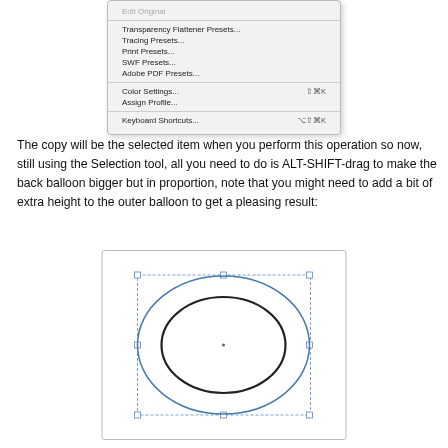[Figure (screenshot): Dropdown menu showing Illustrator Edit menu options: Edit Original (grayed), Transparency Flattener Presets..., Tracing Presets..., Print Presets..., SWF Presets..., Adobe PDF Presets..., Color Settings... (Shift+Cmd+K), Assign Profile..., Keyboard Shortcuts... (Alt+Shift+Cmd+K)]
The copy will be the selected item when you perform this operation so now, still using the Selection tool, all you need to do is ALT-SHIFT-drag to make the back balloon bigger but in proportion, note that you might need to add a bit of extra height to the outer balloon to get a pleasing result:
[Figure (screenshot): Adobe Illustrator canvas showing two concentric ellipses (balloon shapes) with selection handles. The outer ellipse is larger and the inner is smaller, both in blue/dark outlines.]